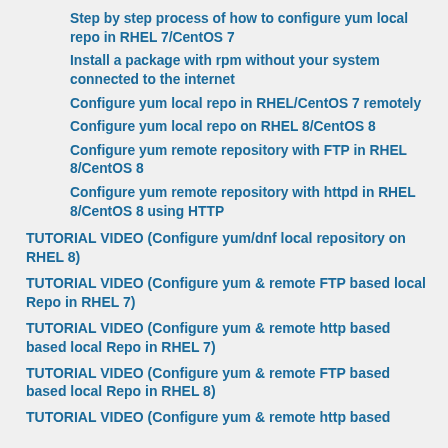Step by step process of how to configure yum local repo in RHEL 7/CentOS 7
Install a package with rpm without your system connected to the internet
Configure yum local repo in RHEL/CentOS 7 remotely
Configure yum local repo on RHEL 8/CentOS 8
Configure yum remote repository with FTP in RHEL 8/CentOS 8
Configure yum remote repository with httpd in RHEL 8/CentOS 8 using HTTP
TUTORIAL VIDEO (Configure yum/dnf local repository on RHEL 8)
TUTORIAL VIDEO (Configure yum & remote FTP based local Repo in RHEL 7)
TUTORIAL VIDEO (Configure yum & remote http based based local Repo in RHEL 7)
TUTORIAL VIDEO (Configure yum & remote FTP based based local Repo in RHEL 8)
TUTORIAL VIDEO (Configure yum & remote http based